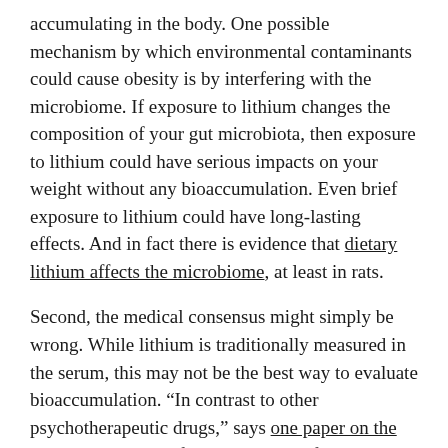accumulating in the body. One possible mechanism by which environmental contaminants could cause obesity is by interfering with the microbiome. If exposure to lithium changes the composition of your gut microbiota, then exposure to lithium could have serious impacts on your weight without any bioaccumulation. Even brief exposure to lithium could have long-lasting effects. And in fact there is evidence that dietary lithium affects the microbiome, at least in rats.
Second, the medical consensus might simply be wrong. While lithium is traditionally measured in the serum, this may not be the best way to evaluate bioaccumulation. “In contrast to other psychotherapeutic drugs,” says one paper on the pharmacokinetics of lithium, “Li+ is fairly evenly distributed in the body, but in tissues such as the white matter of the brain, the bones, and in the thyroid gland the concentrations per kg wet weight are about twice those in the serum.”